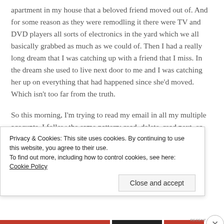apartment in my house that a beloved friend moved out of. And for some reason as they were remodling it there were TV and DVD players all sorts of electronics in the yard which we all basically grabbed as much as we could of. Then I had a really long dream that I was catching up with a friend that I miss. In the dream she used to live next door to me and I was catching her up on everything that had happened since she'd moved. Which isn't too far from the truth.
So this morning, I'm trying to read my email in all my multiple acocunts. I follow the same pattern: read, delete, read next, or read, reply, delete, read next. For some
Privacy & Cookies: This site uses cookies. By continuing to use this website, you agree to their use.
To find out more, including how to control cookies, see here: Cookie Policy
Close and accept
RECENT THIS &...